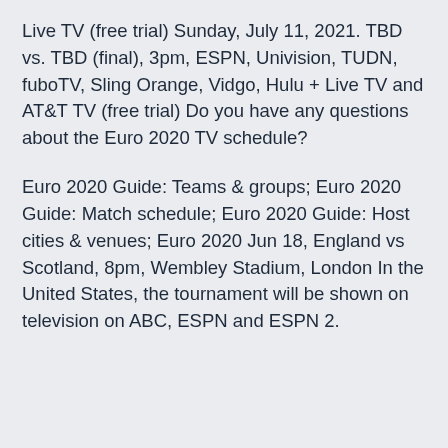Live TV (free trial) Sunday, July 11, 2021. TBD vs. TBD (final), 3pm, ESPN, Univision, TUDN, fuboTV, Sling Orange, Vidgo, Hulu + Live TV and AT&T TV (free trial) Do you have any questions about the Euro 2020 TV schedule?
Euro 2020 Guide: Teams & groups; Euro 2020 Guide: Match schedule; Euro 2020 Guide: Host cities & venues; Euro 2020 Jun 18, England vs Scotland, 8pm, Wembley Stadium, London In the United States, the tournament will be shown on television on ABC, ESPN and ESPN 2.